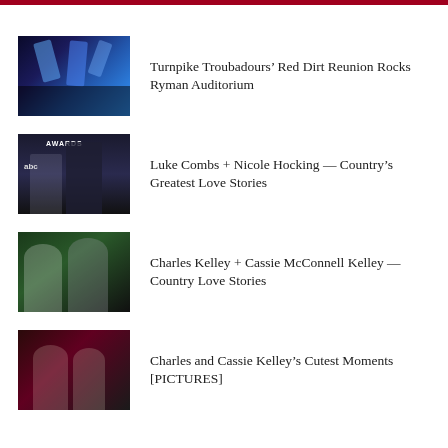[Figure (photo): Concert stage with blue spotlight beams]
Turnpike Troubadours’ Red Dirt Reunion Rocks Ryman Auditorium
[Figure (photo): Luke Combs and Nicole Hocking at an awards show]
Luke Combs + Nicole Hocking — Country’s Greatest Love Stories
[Figure (photo): Charles Kelley and Cassie McConnell Kelley posing together outdoors]
Charles Kelley + Cassie McConnell Kelley — Country Love Stories
[Figure (photo): Charles and Cassie Kelley at an event with red lighting]
Charles and Cassie Kelley’s Cutest Moments [PICTURES]